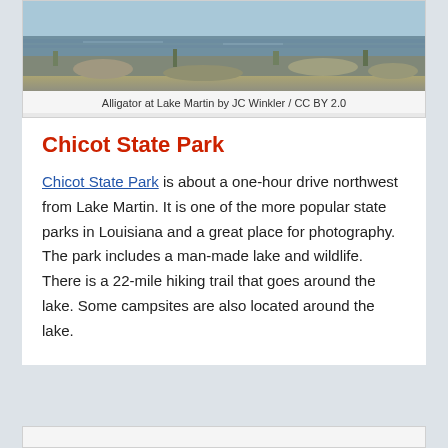[Figure (photo): Photograph of an alligator at Lake Martin, showing water and rocky/vegetated shoreline, reflected in the water. Partial view — top portion of page.]
Alligator at Lake Martin by JC Winkler / CC BY 2.0
Chicot State Park
Chicot State Park is about a one-hour drive northwest from Lake Martin. It is one of the more popular state parks in Louisiana and a great place for photography. The park includes a man-made lake and wildlife. There is a 22-mile hiking trail that goes around the lake. Some campsites are also located around the lake.
[Figure (photo): Bottom portion of another photo box, partially visible at the bottom of the page.]